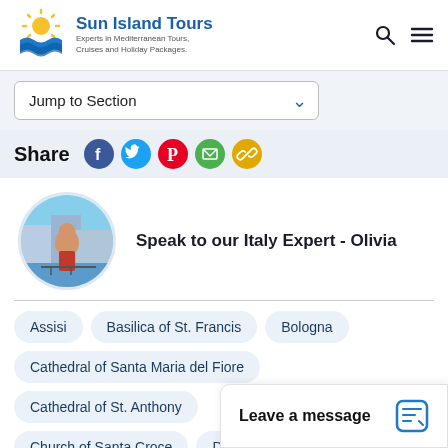[Figure (logo): Sun Island Tours logo with sun and waves icon, company name in blue bold text, subtitle 'Experts in Mediterranean Tours, Cruises and Holiday Packages.']
[Figure (other): Search and hamburger menu icons in the top right of the header]
Jump to Section
Share
[Figure (other): Social media sharing icons: Facebook (blue), Twitter (blue), Pinterest (red), Email (green), Link (yellow/gold)]
[Figure (photo): Circular profile photo of Italy expert Olivia, standing outdoors near water and buildings]
Speak to our Italy Expert - Olivia
Assisi
Basilica of St. Francis
Bologna
Cathedral of Santa Maria del Fiore
Cathedral of St. Anthony
Church of Santa Croce
Doge's Palace
Florence
Giott
Guided Group To
Leave a message